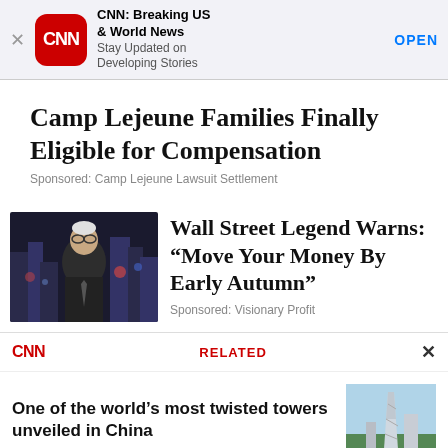[Figure (screenshot): App Store banner for CNN Breaking US & World News app with red CNN icon, title, subtitle, and OPEN button]
Camp Lejeune Families Finally Eligible for Compensation
Sponsored: Camp Lejeune Lawsuit Settlement
[Figure (photo): Older man in suit with glasses speaking, city lights background]
Wall Street Legend Warns: “Move Your Money By Early Autumn”
Sponsored: Visionary Profit
CNN RELATED
One of the world’s most twisted towers unveiled in China
[Figure (photo): Tall twisted tower building in China against blue sky]